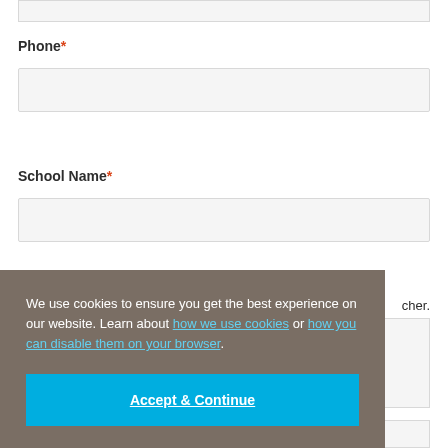Phone*
School Name*
We use cookies to ensure you get the best experience on our website. Learn about how we use cookies or how you can disable them on your browser.
Accept & Continue